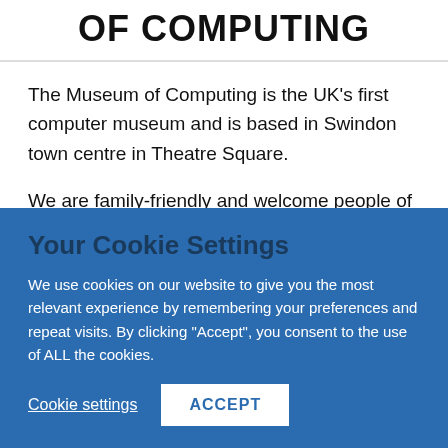OF COMPUTING
The Museum of Computing is the UK’s first computer museum and is based in Swindon town centre in Theatre Square.
We are family-friendly and welcome people of all ages. You will find many hands-on
Your Cookie Settings
We use cookies on our website to give you the most relevant experience by remembering your preferences and repeat visits. By clicking “Accept”, you consent to the use of ALL the cookies.
Cookie settings  ACCEPT